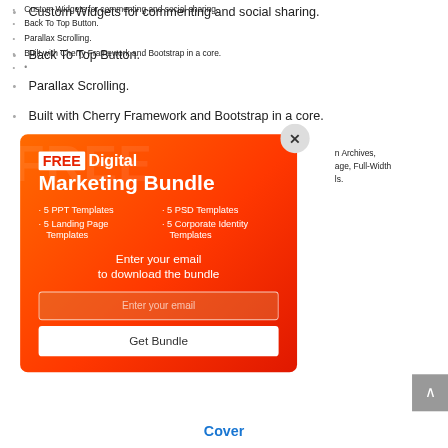Custom Widgets for commenting and social sharing.
Back To Top Button.
Parallax Scrolling.
Built with Cherry Framework and Bootstrap in a core.
...n Archives, ...age, Full-Width ...ls.
[Figure (screenshot): Popup modal with orange-red gradient background advertising a FREE Digital Marketing Bundle. Contains a white FREE label, title text, list of 5 PPT Templates, 5 PSD Templates, 5 Landing Page Templates, 5 Corporate Identity Templates, email input field, and Get Bundle button. Has an X close button in top-right corner.]
Cover